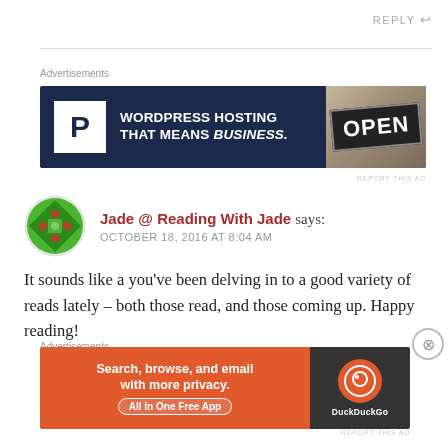REPLY
[Figure (screenshot): WordPress hosting advertisement banner: dark navy background with white 'P' icon, text 'WORDPRESS HOSTING THAT MEANS BUSINESS.' and a photo of an OPEN sign]
Jade @ Reading With Jade says: OCTOBER 18, 2016 AT 8:04 AM
It sounds like a you've been delving in to a good variety of reads lately – both those read, and those coming up. Happy reading!
[Figure (screenshot): DuckDuckGo advertisement banner: orange left panel with text 'Search, browse, and email with more privacy. All in One Free App', dark right panel with DuckDuckGo logo and name]